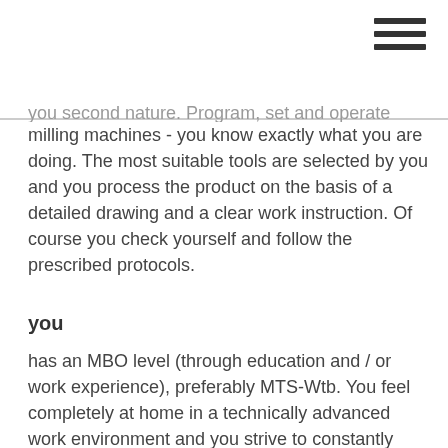hamburger menu icon
you second nature. Program, set and operate large milling machines - you know exactly what you are doing. The most suitable tools are selected by you and you process the product on the basis of a detailed drawing and a clear work instruction. Of course you check yourself and follow the prescribed protocols.
you
has an MBO level (through education and / or work experience), preferably MTS-Wtb. You feel completely at home in a technically advanced work environment and you strive to constantly improve your knowledge level and the performance level of your machine. You go for the optimum result and highest achievable quality, just like us. As a colleague you are enthusiastic, motivated and a real go-getter.